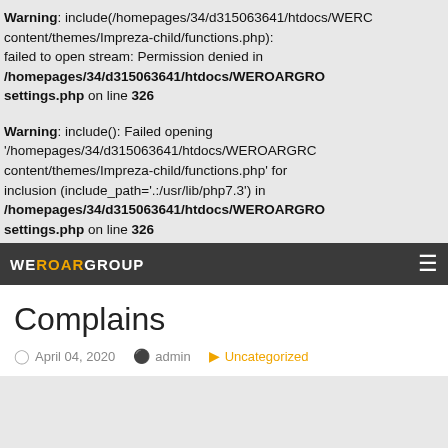Warning: include(/homepages/34/d315063641/htdocs/WEROARGROUP/wp-content/themes/Impreza-child/functions.php): failed to open stream: Permission denied in /homepages/34/d315063641/htdocs/WEROARGROUP/settings.php on line 326
Warning: include(): Failed opening '/homepages/34/d315063641/htdocs/WEROARGROUP/wp-content/themes/Impreza-child/functions.php' for inclusion (include_path='.:/usr/lib/php7.3') in /homepages/34/d315063641/htdocs/WEROARGROUP/settings.php on line 326
WEROAR GROUP
Complains
April 04, 2020  admin  Uncategorized